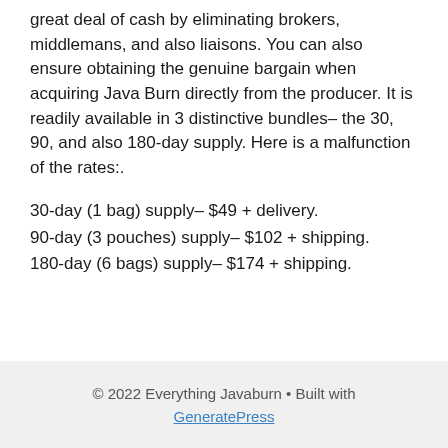great deal of cash by eliminating brokers, middlemans, and also liaisons. You can also ensure obtaining the genuine bargain when acquiring Java Burn directly from the producer. It is readily available in 3 distinctive bundles– the 30, 90, and also 180-day supply. Here is a malfunction of the rates:.
30-day (1 bag) supply– $49 + delivery.
90-day (3 pouches) supply– $102 + shipping.
180-day (6 bags) supply– $174 + shipping.
© 2022 Everything Javaburn • Built with GeneratePress